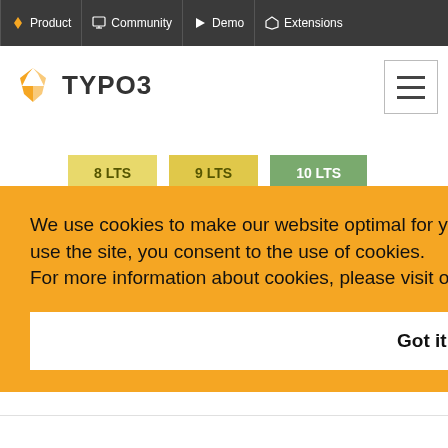Product | Community | Demo | Extensions
[Figure (logo): TYPO3 logo with orange wing icon and TYPO3 text]
[Figure (screenshot): Version badges: 8 LTS (yellow), 9 LTS (yellow), 10 LTS (green)]
We use cookies to make our website optimal for you and to continuously improve it. By continuing to use the site, you consent to the use of cookies.
For more information about cookies, please visit our privacy policy
Got it!